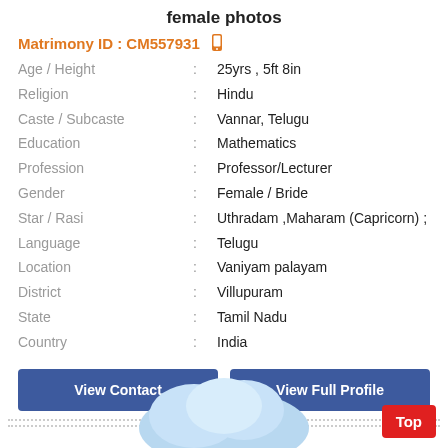female photos
Matrimony ID : CM557931
Age / Height : 25yrs , 5ft 8in
Religion : Hindu
Caste / Subcaste : Vannar, Telugu
Education : Mathematics
Profession : Professor/Lecturer
Gender : Female / Bride
Star / Rasi : Uthradam ,Maharam (Capricorn) ;
Language : Telugu
Location : Vaniyam palayam
District : Villupuram
State : Tamil Nadu
Country : India
View Contact
View Full Profile
[Figure (illustration): Cloud illustration at bottom of page]